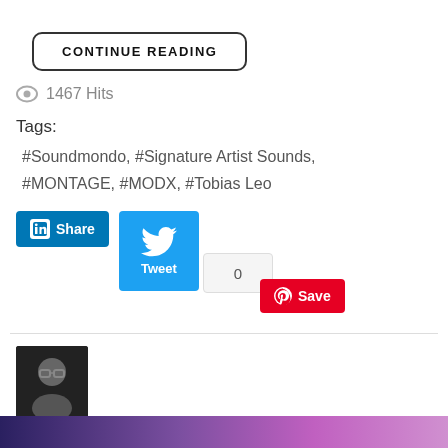CONTINUE READING
1467 Hits
Tags:
#Soundmondo, #Signature Artist Sounds, #MONTAGE, #MODX, #Tobias Leo
[Figure (other): Social sharing buttons: LinkedIn Share, Twitter Tweet, tweet count 0, Pinterest Save]
[Figure (photo): Author avatar photo showing a person with glasses]
Signature Artist Sounds: Michael Feiner
Wednesday, 13 April 2022
Blake Angelos
[Figure (photo): Bottom banner image with purple/violet gradient]